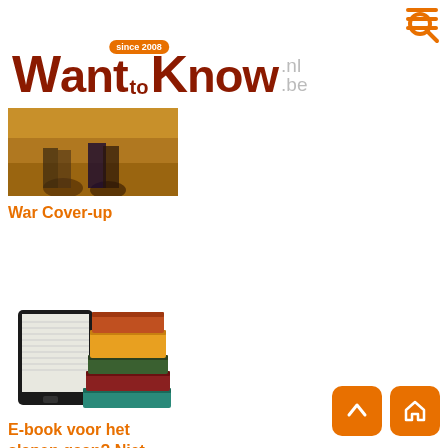WantToKnow .nl .be since 2008
[Figure (photo): Photo of feet/shoes on sandy ground, partial crop at top]
War Cover-up
[Figure (photo): Stack of books with an e-reader/tablet leaning against them]
E-book voor het slapen gaan? Niet doen..!